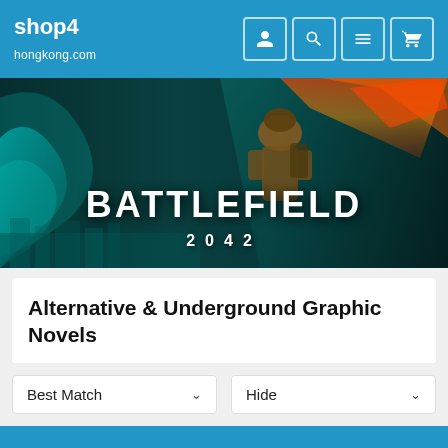shop4hongkong.com
[Figure (screenshot): Battlefield 2042 promotional banner image showing a soldier in combat gear with dramatic teal and orange lighting]
Alternative & Underground Graphic Novels
Best Match [dropdown] | Hide [dropdown]
No results found.